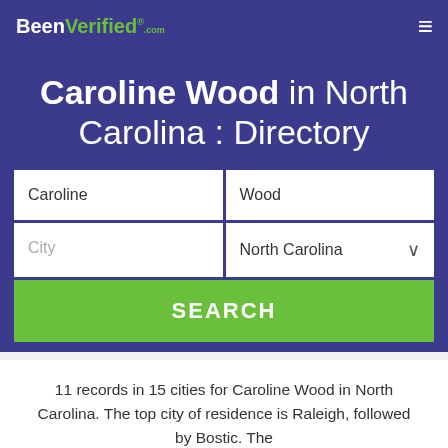BeenVerified.com
Caroline Wood in North Carolina : Directory
[Figure (screenshot): Search form with fields: Caroline, Wood, City, North Carolina (dropdown), and a SEARCH button]
11 records in 15 cities for Caroline Wood in North Carolina. The top city of residence is Raleigh, followed by Bostic. The